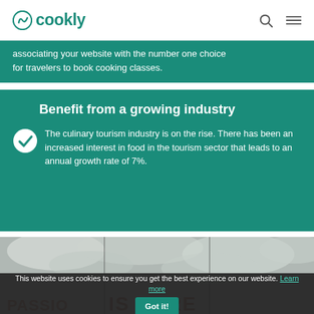cookly
associating your website with the number one choice for travelers to book cooking classes.
Benefit from a growing industry
The culinary tourism industry is on the rise. There has been an increased interest in food in the tourism sector that leads to an annual growth rate of 7%.
[Figure (photo): A tiled concrete surface photographed against a cloudy sky, with text 'PASSION IS HERE' partially visible at the bottom of the image.]
This website uses cookies to ensure you get the best experience on our website. Learn more Got it!